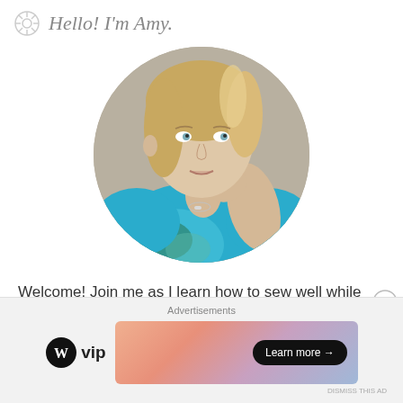Hello! I'm Amy.
[Figure (photo): Circular portrait photo of a blonde woman named Amy wearing a blue tank top with floral print, smiling slightly, hand touching her neck/shoulder.]
Welcome! Join me as I learn how to sew well while taking time to reflect on the process.
[Figure (infographic): Advertisement bar at the bottom showing 'Advertisements' label, WordPress VIP logo on the left, and a colorful gradient banner with 'Learn more →' button on the right. Close (X) button in upper right of ad section.]